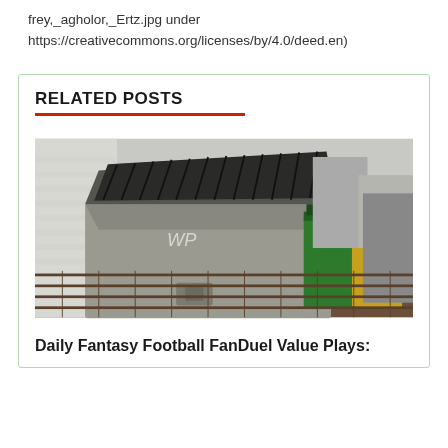frey,_agholor,_Ertz.jpg under
https://creativecommons.org/licenses/by/4.0/deed.en)
RELATED POSTS
[Figure (photo): Photo of dumpsters in an alley. A large open grey dumpster with 'WP' written on it is in the foreground, with green and yellow dumpsters visible behind it along a brick alley wall.]
Daily Fantasy Football FanDuel Value Plays: